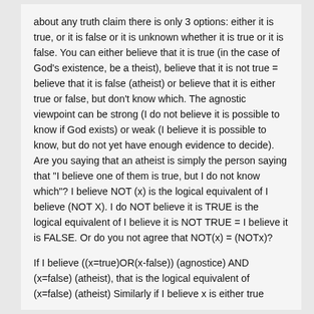about any truth claim there is only 3 options: either it is true, or it is false or it is unknown whether it is true or it is false. You can either believe that it is true (in the case of God's existence, be a theist), believe that it is not true = believe that it is false (atheist) or believe that it is either true or false, but don't know which. The agnostic viewpoint can be strong (I do not believe it is possible to know if God exists) or weak (I believe it is possible to know, but do not yet have enough evidence to decide). Are you saying that an atheist is simply the person saying that "I believe one of them is true, but I do not know which"? I believe NOT (x) is the logical equivalent of I believe (NOT X). I do NOT believe it is TRUE is the logical equivalent of I believe it is NOT TRUE = I believe it is FALSE. Or do you not agree that NOT(x) = (NOTx)?
If I believe ((x=true)OR(x-false)) (agnostice) AND (x=false) (atheist), that is the logical equivalent of (x=false) (atheist) Similarly if I believe x is either true